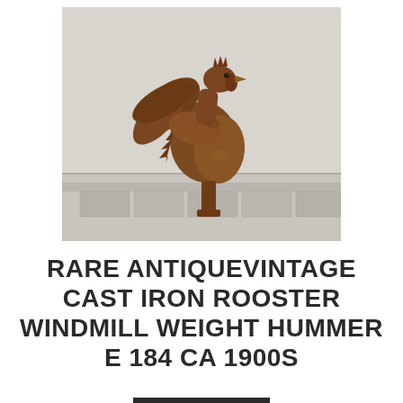[Figure (photo): A vintage cast iron rooster windmill weight figurine with rust patina, photographed against a light grey/white background.]
RARE ANTIQUEVINTAGE CAST IRON ROOSTER WINDMILL WEIGHT HUMMER E 184 CA 1900S
$399.00